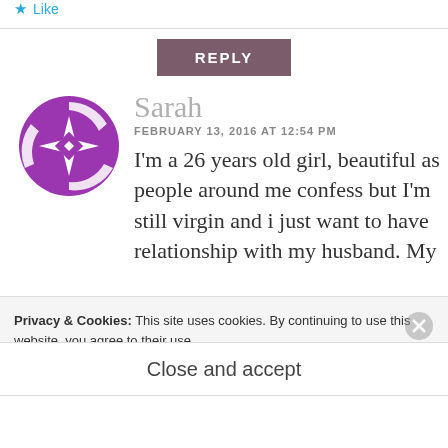Like
[Figure (other): Reply button — dark mauve/purple background with white text 'REPLY' in bold caps]
[Figure (logo): Circular purple avatar with white geometric star/asterisk pattern]
Sarah
FEBRUARY 13, 2016 AT 12:54 PM
I'm a 26 years old girl, beautiful as people around me confess but I'm still virgin and i just want to have relationship with my husband. My
Privacy & Cookies: This site uses cookies. By continuing to use this website, you agree to their use.
To find out more, including how to control cookies, see here:
Cookie Policy
Close and accept